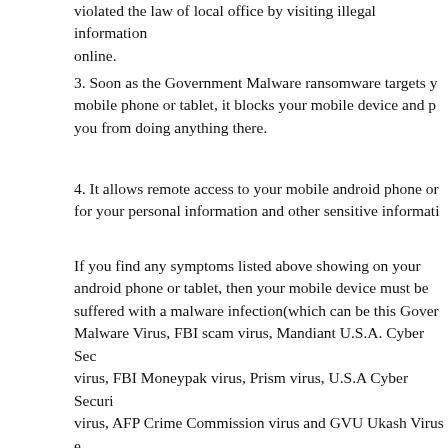violated the law of local office by visiting illegal information online.
3. Soon as the Government Malware ransomware targets your mobile phone or tablet, it blocks your mobile device and prevents you from doing anything there.
4. It allows remote access to your mobile android phone or for your personal information and other sensitive information.
If you find any symptoms listed above showing on your android phone or tablet, then your mobile device must be suffered with a malware infection(which can be this Government Malware Virus, FBI scam virus, Mandiant U.S.A. Cyber Security virus, FBI Moneypak virus, Prism virus, U.S.A Cyber Security virus, AFP Crime Commission virus and GVU Ukash Virus etc.) that blocks your access to your smartphone or tablet. Welcome to contact YooSecurity Online Experts for manual removal help. Also, we will provide a short removal guide below for phone and tablet literate.